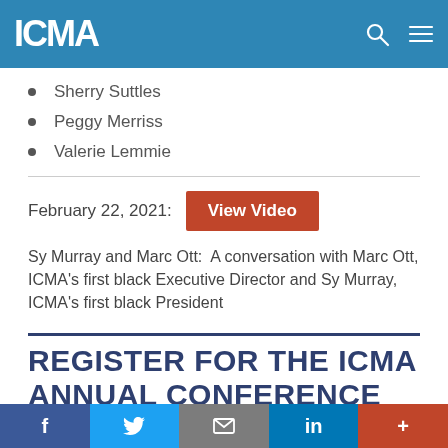ICMA
Sherry Suttles
Peggy Merriss
Valerie Lemmie
February 22, 2021:  View Video
Sy Murray and Marc Ott:  A conversation with Marc Ott, ICMA's first black Executive Director and Sy Murray, ICMA's first black President
REGISTER FOR THE ICMA ANNUAL CONFERENCE
f  twitter  email  in  +